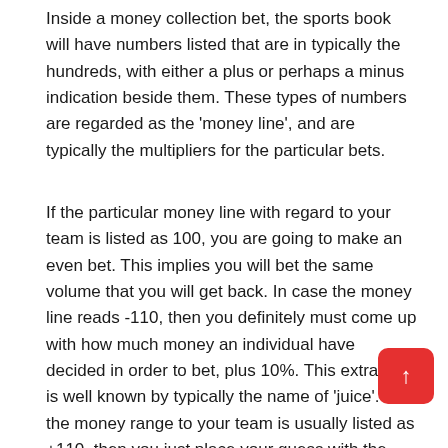Inside a money collection bet, the sports book will have numbers listed that are in typically the hundreds, with either a plus or perhaps a minus indication beside them. These types of numbers are regarded as the 'money line', and are typically the multipliers for the particular bets.
If the particular money line with regard to your team is listed as 100, you are going to make an even bet. This implies you will bet the same volume that you will get back. In case the money line reads -110, then you definitely must come up with how much money an individual have decided in order to bet, plus 10%. This extra 10% is well known by typically the name of 'juice'. If the money range to your team is usually listed as +110, then you just place your guess with the amount of money you decide to bet. When you win a money line bet, you get the amount of your bet as well as 10% back.